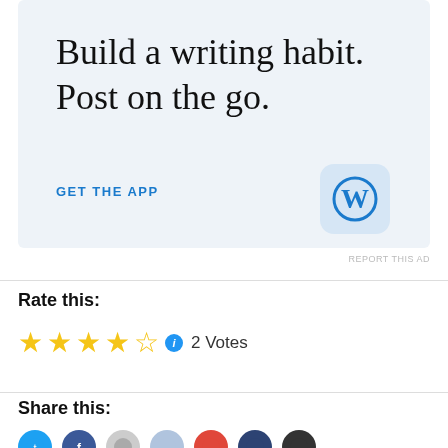[Figure (infographic): WordPress app advertisement with light blue background. Large serif text reads 'Build a writing habit. Post on the go.' with a 'GET THE APP' call-to-action link and WordPress 'W' logo icon on the right.]
REPORT THIS AD
Rate this:
2 Votes
Share this: